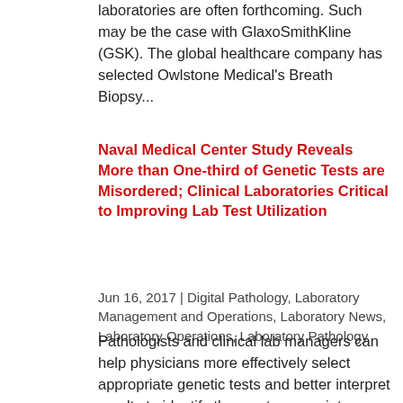laboratories are often forthcoming. Such may be the case with GlaxoSmithKline (GSK). The global healthcare company has selected Owlstone Medical's Breath Biopsy...
Naval Medical Center Study Reveals More than One-third of Genetic Tests are Misordered; Clinical Laboratories Critical to Improving Lab Test Utilization
Jun 16, 2017 | Digital Pathology, Laboratory Management and Operations, Laboratory News, Laboratory Operations, Laboratory Pathology
Pathologists and clinical lab managers can help physicians more effectively select appropriate genetic tests and better interpret results to identify the most appropriate therapies for their patients Clinical laboratories and pathology groups aren't the only healthcare providers being scrutinized for cost cutting and